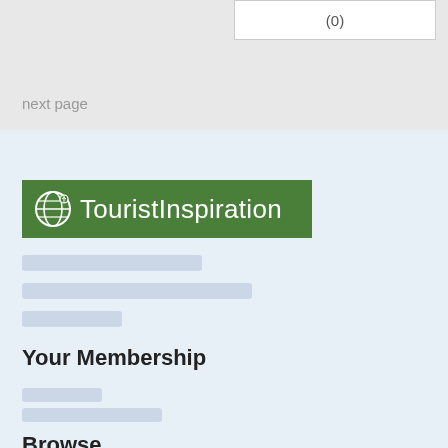(0)
next page
[Figure (logo): TouristInspiration logo: green rectangle with globe icon and white text 'TouristInspiration']
Your Membership
Browse
United States
Canada